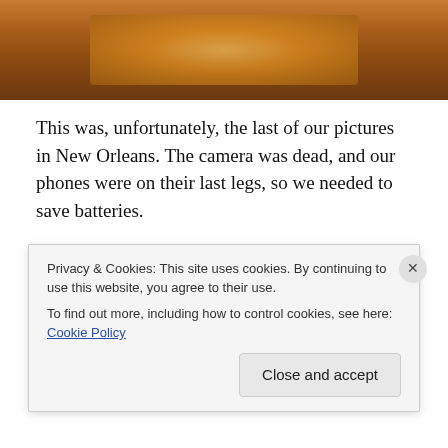[Figure (photo): Partial view of an interior room with warm amber/orange lighting, appears to be a church or hall interior]
This was, unfortunately, the last of our pictures in New Orleans. The camera was dead, and our phones were on their last legs, so we needed to save batteries.
Pictures we didn't get to take-
Having a blast drinking hurricanes.
Walking the streets at night.
The front of the Bug Museum.
Privacy & Cookies: This site uses cookies. By continuing to use this website, you agree to their use.
To find out more, including how to control cookies, see here: Cookie Policy